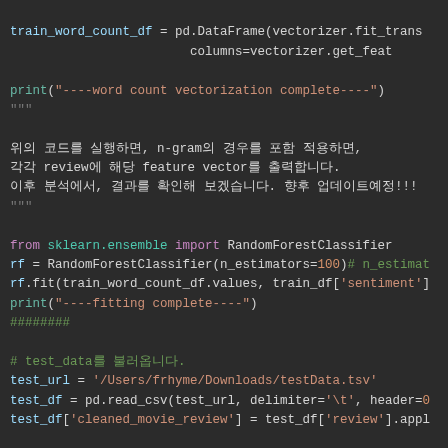Code snippet showing Python machine learning code with Korean comments for sentiment analysis using RandomForestClassifier
[Figure (screenshot): Python code editor screenshot on dark background showing sklearn RandomForestClassifier usage with Korean docstring comments and pandas DataFrame operations for sentiment analysis]